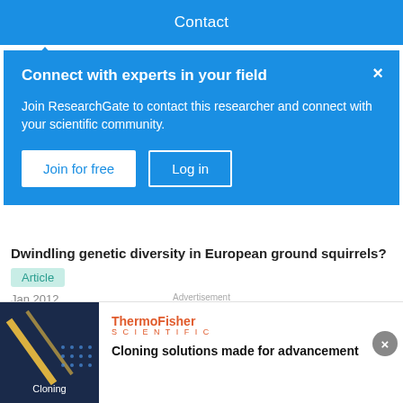Contact
Connect with experts in your field
Join ResearchGate to contact this researcher and connect with your scientific community.
Join for free   Log in
Dwindling genetic diversity in European ground squirrels?
Article
Jan 2012
Ben Slimen · Csongor Gedeon · Ilse E. Hoffmann · [...] · and F. Suchentrunk
The European ground squirrel (Spermophilus citellus) is
Advertisement
Cloning solutions made for advancement